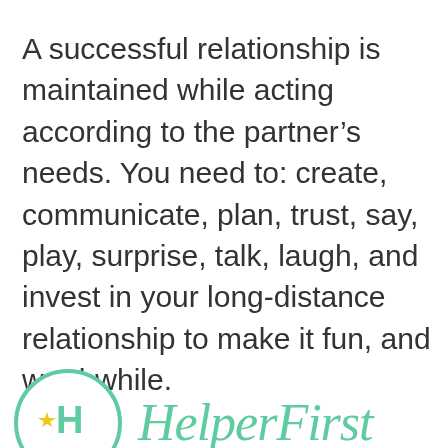A successful relationship is maintained while acting according to the partner’s needs. You need to: create, communicate, plan, trust, say, play, surprise, talk, laugh, and invest in your long-distance relationship to make it fun, and worthwhile.
[Figure (logo): HelperFirst logo: a circular badge with a green border, containing a yellow star and green H letter, next to the text 'HelperFirst' in teal/mint cursive font]